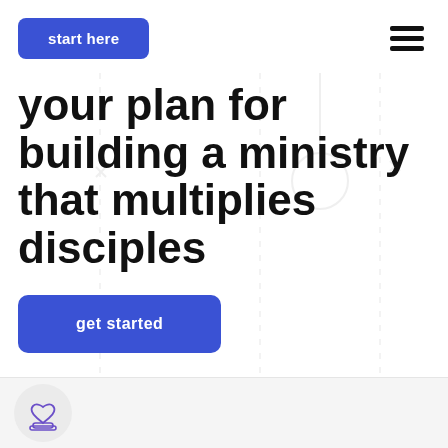start here
your plan for building a ministry that multiplies disciples
get started
[Figure (illustration): Heart with hands icon in purple outline style inside a light gray circle, partial view at bottom of page]